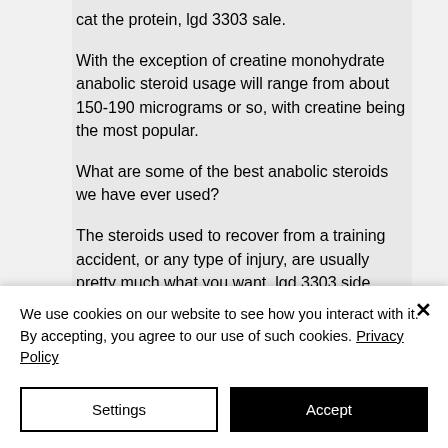cat the protein, lgd 3303 sale.

With the exception of creatine monohydrate anabolic steroid usage will range from about 150-190 micrograms or so, with creatine being the most popular.

What are some of the best anabolic steroids we have ever used?

The steroids used to recover from a training accident, or any type of injury, are usually pretty much what you want, lgd 3303 side effects. You really don't want to go off the train for over four months then come back to
We use cookies on our website to see how you interact with it. By accepting, you agree to our use of such cookies. Privacy Policy
Settings
Accept